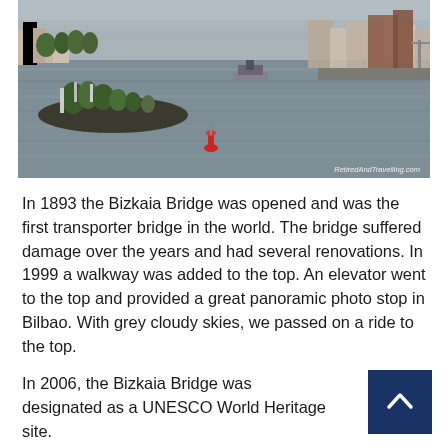[Figure (photo): Aerial/elevated photograph of a wide river or estuary in Bilbao (Bizkaia area), showing grey water, a small island or headland with trees and a red buoy in the foreground, city buildings on the far shore, and overcast grey skies. Watermark reads 'RetiredAndTravelling.com' in the bottom right.]
In 1893 the Bizkaia Bridge was opened and was the first transporter bridge in the world. The bridge suffered damage over the years and had several renovations. In 1999 a walkway was added to the top. An elevator went to the top and provided a great panoramic photo stop in Bilbao. With grey cloudy skies, we passed on a ride to the top.
In 2006, the Bizkaia Bridge was designated as a UNESCO World Heritage site.